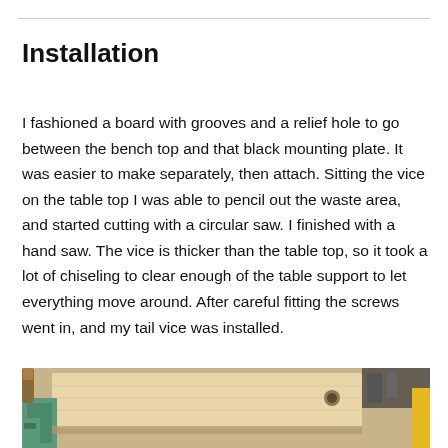Installation
I fashioned a board with grooves and a relief hole to go between the bench top and that black mounting plate.  It was easier to make separately, then attach.  Sitting the vice on the table top I was able to pencil out the waste area, and started cutting with a circular saw.  I finished with a hand saw.  The vice is thicker than the table top, so it took a lot of chiseling to clear enough of the table support to let everything move around.  After careful fitting the screws went in, and my tail vice was installed.
[Figure (photo): Photo of a woodworking bench top with a light wood panel, a green mounting plate, a hole drilled in the board, and various tools around it]